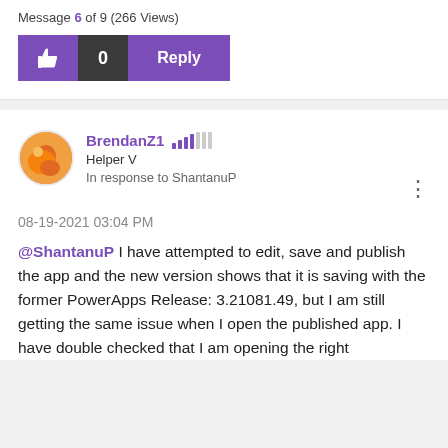Message 6 of 9 (266 Views)
[Figure (screenshot): Action bar with thumbs up like button, count 0, and Reply button in purple]
[Figure (photo): User avatar for BrendanZ1 - orange circular profile picture]
BrendanZ1  Helper V  In response to ShantanuP
08-19-2021 03:04 PM
@ShantanuP I have attempted to edit, save and publish the app and the new version shows that it is saving with the former PowerApps Release: 3.21081.49, but I am still getting the same issue when I open the published app. I have double checked that I am opening the right